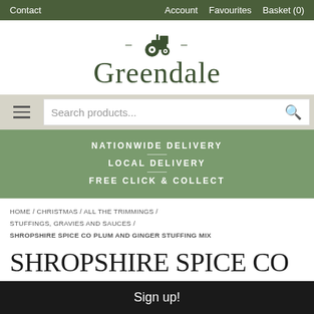Contact  Account  Favourites  Basket (0)
[Figure (logo): Greendale logo with tractor icon and dashes, text reading Greendale]
Search products...
NATIONWIDE DELIVERY
LOCAL DELIVERY
FREE CLICK & COLLECT
HOME / CHRISTMAS / ALL THE TRIMMINGS / STUFFINGS, GRAVIES AND SAUCES / SHROPSHIRE SPICE CO PLUM AND GINGER STUFFING MIX
SHROPSHIRE SPICE CO PLUM AND
Sign up!